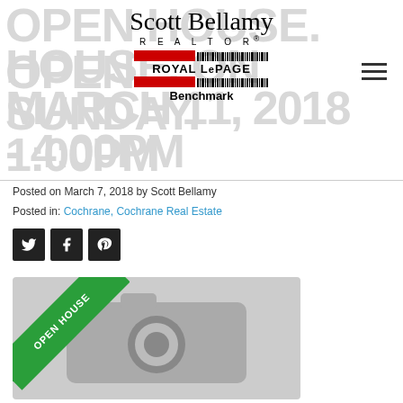OPEN HOUSE. OPEN HOUSE. ON SUNDAY. MARCH 11, 2018 1:00PM - 4:00PM
[Figure (logo): Scott Bellamy REALTOR Royal LePage Benchmark logo with name and branding]
Posted on March 7, 2018 by Scott Bellamy
Posted in: Cochrane, Cochrane Real Estate
[Figure (infographic): Social sharing icons: Twitter, Facebook, Pinterest]
[Figure (photo): Open house image placeholder with camera icon and green Open House ribbon in upper left corner]